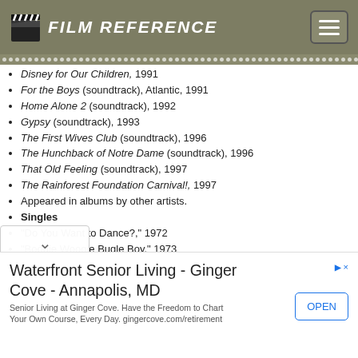FILM REFERENCE
Disney for Our Children, 1991
For the Boys (soundtrack), Atlantic, 1991
Home Alone 2 (soundtrack), 1992
Gypsy (soundtrack), 1993
The First Wives Club (soundtrack), 1996
The Hunchback of Notre Dame (soundtrack), 1996
That Old Feeling (soundtrack), 1997
The Rainforest Foundation Carnival!, 1997
Appeared in albums by other artists.
Singles
"Do You Want to Dance?," 1972
"Boogie Woogie Bugle Boy," 1973
"Friends," 1973
"In the Mood," 1974
Waterfront Senior Living - Ginger Cove - Annapolis, MD
Senior Living at Ginger Cove. Have the Freedom to Chart Your Own Course, Every Day. gingercove.com/retirement